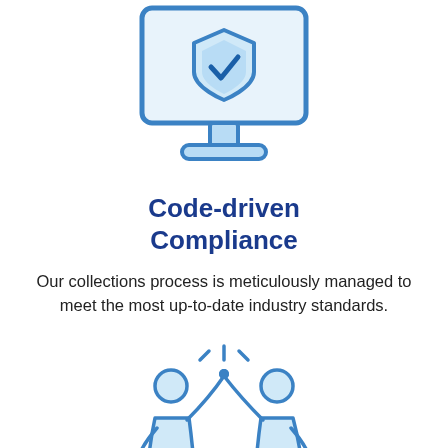[Figure (illustration): Computer monitor icon with a shield and checkmark on screen, light blue colors with blue outline]
Code-driven Compliance
Our collections process is meticulously managed to meet the most up-to-date industry standards.
[Figure (illustration): Two people doing a high-five gesture, rendered in light blue with blue outlines, with lines indicating impact at the top]